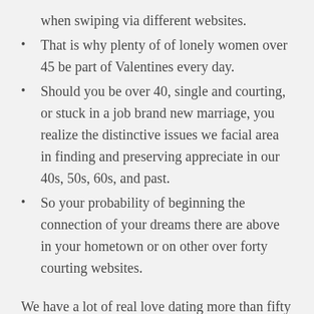when swiping via different websites.
That is why plenty of of lonely women over 45 be part of Valentines every day.
Should you be over 40, single and courting, or stuck in a job brand new marriage, you realize the distinctive issues we facial area in finding and preserving appreciate in our 40s, 50s, 60s, and past.
So your probability of beginning the connection of your dreams there are above in your hometown or on other over forty courting websites.
We have a lot of real love dating more than fifty all across the UK, consequently